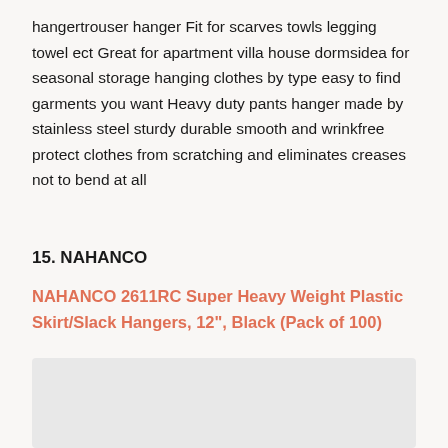hangertrouser hanger Fit for scarves towls legging towel ect Great for apartment villa house dormsidea for seasonal storage hanging clothes by type easy to find garments you want Heavy duty pants hanger made by stainless steel sturdy durable smooth and wrinkfree protect clothes from scratching and eliminates creases not to bend at all
15. NAHANCO
NAHANCO 2611RC Super Heavy Weight Plastic Skirt/Slack Hangers, 12", Black (Pack of 100)
[Figure (photo): Product image placeholder box (gray rectangle)]